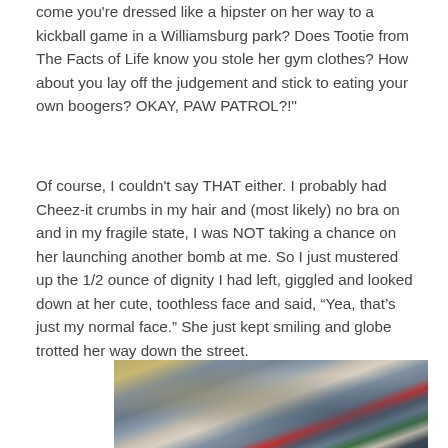come you're dressed like a hipster on her way to a kickball game in a Williamsburg park? Does Tootie from The Facts of Life know you stole her gym clothes? How about you lay off the judgement and stick to eating your own boogers? OKAY, PAW PATROL?!"
Of course, I couldn't say THAT either. I probably had Cheez-it crumbs in my hair and (most likely) no bra on and in my fragile state, I was NOT taking a chance on her launching another bomb at me. So I just mustered up the 1/2 ounce of dignity I had left, giggled and looked down at her cute, toothless face and said, “Yea, that’s just my normal face.” She just kept smiling and globe trotted her way down the street.
[Figure (photo): A blurred crowd/stadium scene showing rows of seats and spectators, partially visible at the bottom of the page.]